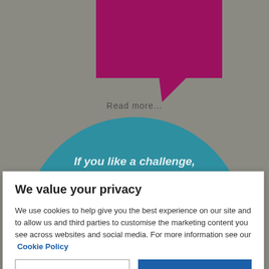[Figure (illustration): Dark magenta/crimson speech bubble shape at the top of a grey background]
Read more...
[Figure (illustration): Large teal circle with white italic bold text reading: If you like a challenge, career progression opportunities and working collaboratively with a great group of people,]
We value your privacy
We use cookies to help give you the best experience on our site and to allow us and third parties to customise the marketing content you see across websites and social media. For more information see our Cookie Policy